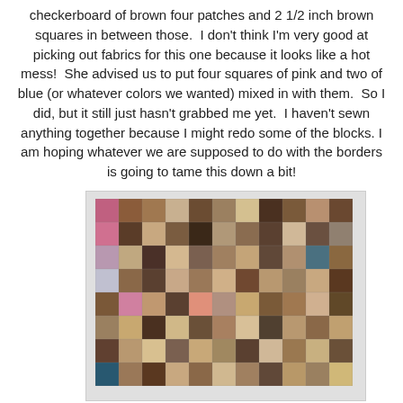checkerboard of brown four patches and 2 1/2 inch brown squares in between those.  I don't think I'm very good at picking out fabrics for this one because it looks like a hot mess!  She advised us to put four squares of pink and two of blue (or whatever colors we wanted) mixed in with them.  So I did, but it still just hasn't grabbed me yet.  I haven't sewn anything together because I might redo some of the blocks.  I am hoping whatever we are supposed to do with the borders is going to tame this down a bit!
[Figure (photo): A patchwork quilt layout showing a checkerboard pattern of brown fabric squares with various prints and textures, along with some pink and blue accent squares. The quilt blocks are laid out on a white surface.]